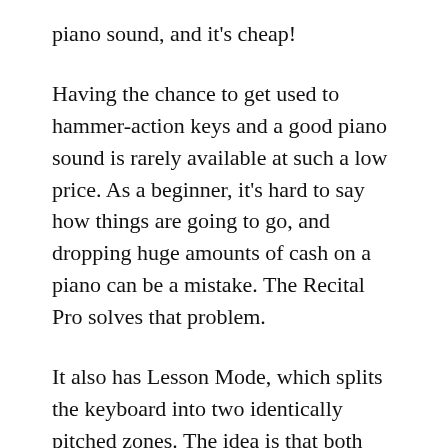piano sound, and it's cheap!
Having the chance to get used to hammer-action keys and a good piano sound is rarely available at such a low price. As a beginner, it's hard to say how things are going to go, and dropping huge amounts of cash on a piano can be a mistake. The Recital Pro solves that problem.
It also has Lesson Mode, which splits the keyboard into two identically pitched zones. The idea is that both students and teachers have the same range during lessons.